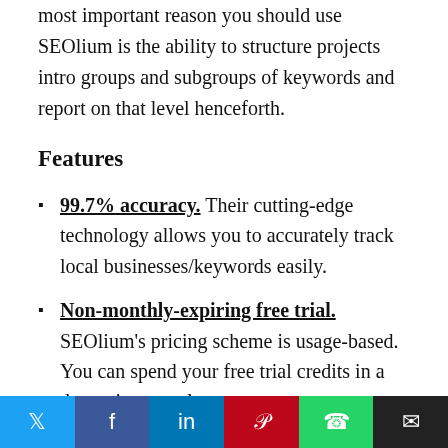most important reason you should use SEOlium is the ability to structure projects intro groups and subgroups of keywords and report on that level henceforth.
Features
99.7% accuracy. Their cutting-edge technology allows you to accurately track local businesses/keywords easily.
Non-monthly-expiring free trial. SEOlium's pricing scheme is usage-based. You can spend your free trial credits in a day or in several years
Twitter | Facebook | LinkedIn | Pinterest | WhatsApp | Email